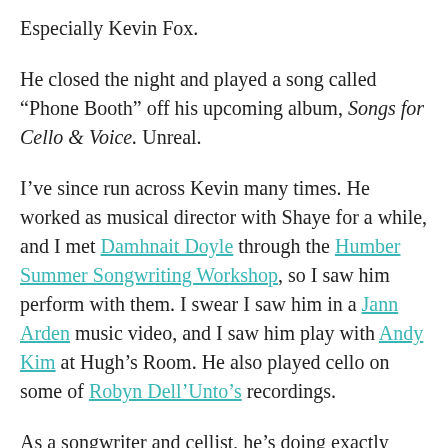Especially Kevin Fox.
He closed the night and played a song called “Phone Booth” off his upcoming album, Songs for Cello & Voice. Unreal.
I’ve since run across Kevin many times. He worked as musical director with Shaye for a while, and I met Damhnait Doyle through the Humber Summer Songwriting Workshop, so I saw him perform with them. I swear I saw him in a Jann Arden music video, and I saw him play with Andy Kim at Hugh’s Room. He also played cello on some of Robyn Dell’Unto’s recordings.
As a songwriter and cellist, he’s doing exactly what I’m trying to do with songwriting and violin. Kevin Fox is my